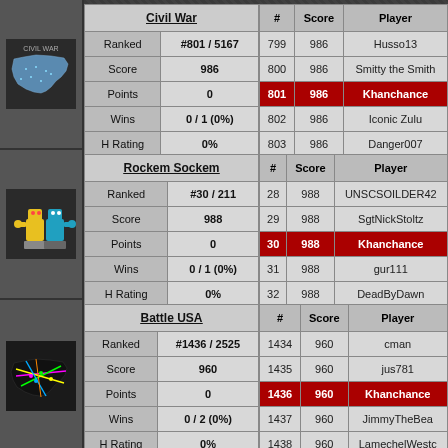| Civil War |  |
| --- | --- |
| Ranked | #801 / 5167 |
| Score | 986 |
| Points | 0 |
| Wins | 0 / 1 (0%) |
| H Rating | 0% |
| # | Score | Player |
| --- | --- | --- |
| 799 | 986 | Husso13 |
| 800 | 986 | Smitty the Smith |
| 801 | 986 | Khanchance |
| 802 | 986 | Iconic Zulu |
| 803 | 986 | Danger007 |
| Rockem Sockem |  |
| --- | --- |
| Ranked | #30 / 211 |
| Score | 988 |
| Points | 0 |
| Wins | 0 / 1 (0%) |
| H Rating | 0% |
| # | Score | Player |
| --- | --- | --- |
| 28 | 988 | UNSCSOILDER42 |
| 29 | 988 | SgtNickStoltz |
| 30 | 988 | Khanchance |
| 31 | 988 | gur111 |
| 32 | 988 | DeadByDawn |
| Battle USA |  |
| --- | --- |
| Ranked | #1436 / 2525 |
| Score | 960 |
| Points | 0 |
| Wins | 0 / 2 (0%) |
| H Rating | 0% |
| # | Score | Player |
| --- | --- | --- |
| 1434 | 960 | cman |
| 1435 | 960 | jus781 |
| 1436 | 960 | Khanchance |
| 1437 | 960 | JimmyTheBea |
| 1438 | 960 | LamechelWestc |